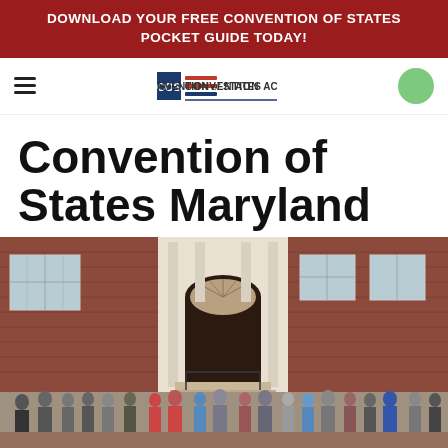DOWNLOAD YOUR FREE CONVENTION OF STATES POCKET GUIDE TODAY!
[Figure (logo): Convention of States Action logo with hamburger menu and green circle button in navigation bar]
Convention of States Maryland
[Figure (photo): Group photo of approximately 40 people standing in front of a red brick colonial building with white trim and arched entrance, taken outdoors on a cloudy day]